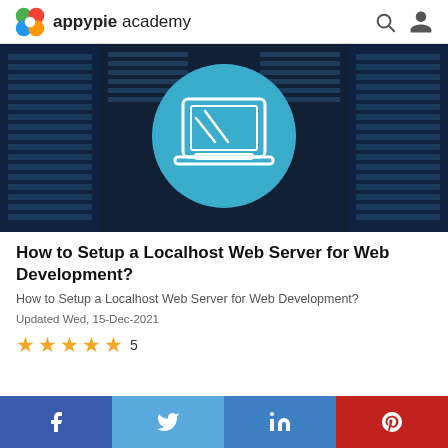appypie academy
[Figure (illustration): Server room background with blue tinted server racks. Centered large teal/blue circle with a white outline laptop icon on top.]
How to Setup a Localhost Web Server for Web Development?
How to Setup a Localhost Web Server for Web Development?
Updated Wed, 15-Dec-2021
★★★★★ 5
f  twitter  in  pinterest social share bar